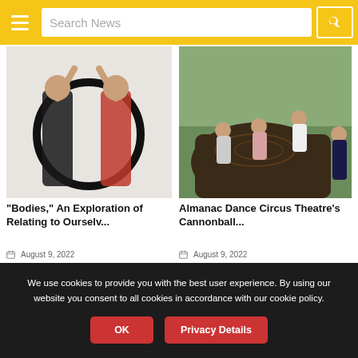Search News
[Figure (photo): Two women with backs to camera touching a large black hoop/ring, one wearing black, one wearing red, on white background]
“Bodies,” An Exploration of Relating to Ourselv...
August 9, 2022
[Figure (photo): Group of performers climbing and balancing on a large fallen tree trunk in a green outdoor setting]
Almanac Dance Circus Theatre’s Cannonball...
August 9, 2022
We use cookies to provide you with the best user experience. By using our website you consent to all cookies in accordance with our cookie policy.